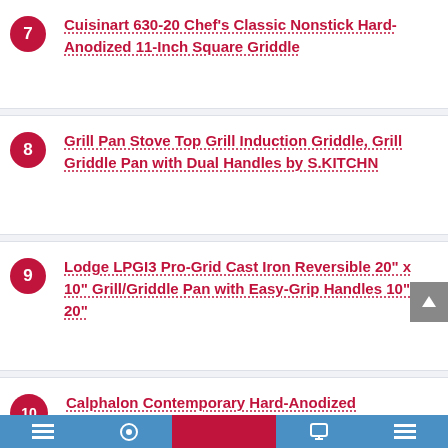7 Cuisinart 630-20 Chef's Classic Nonstick Hard-Anodized 11-Inch Square Griddle
8 Grill Pan Stove Top Grill Induction Griddle, Grill Griddle Pan with Dual Handles by S.KITCHN
9 Lodge LPGI3 Pro-Grid Cast Iron Reversible 20" x 10" Grill/Griddle Pan with Easy-Grip Handles 10" x 20"
10 Calphalon Contemporary Hard-Anodized Aluminum Nonstick Cookware, Square Griddle Pan with...